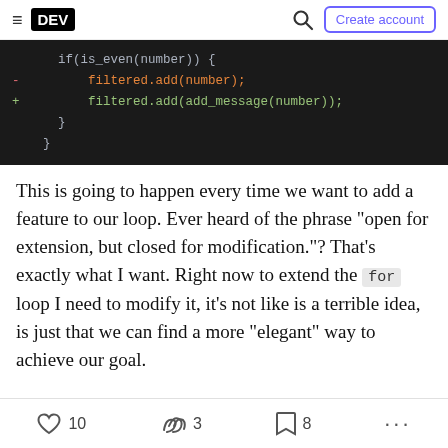DEV | Create account
[Figure (screenshot): Code diff snippet on dark background showing if(is_even(number)) block with removed line 'filtered.add(number);' in orange and added line 'filtered.add(add_message(number));' in green]
This is going to happen every time we want to add a feature to our loop. Ever heard of the phrase "open for extension, but closed for modification."? That's exactly what I want. Right now to extend the for loop I need to modify it, it's not like is a terrible idea, is just that we can find a more "elegant" way to achieve our goal.
10  3  8  ...